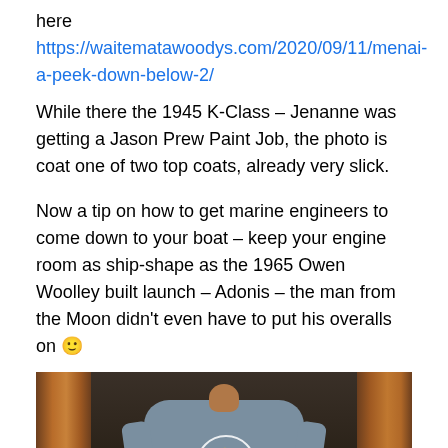here https://waitematawoodys.com/2020/09/11/menai-a-peek-down-below-2/
While there the 1945 K-Class – Jenanne was getting a Jason Prew Paint Job, the photo is coat one of two top coats, already very slick.
Now a tip on how to get marine engineers to come down to your boat – keep your engine room as ship-shape as the 1965 Owen Woolley built launch – Adonis – the man from the Moon didn't even have to put his overalls on 🙂
[Figure (photo): Person wearing a grey Moon Engines branded t-shirt viewed from behind, leaning into a wooden boat engine hatch with the engine room visible below.]